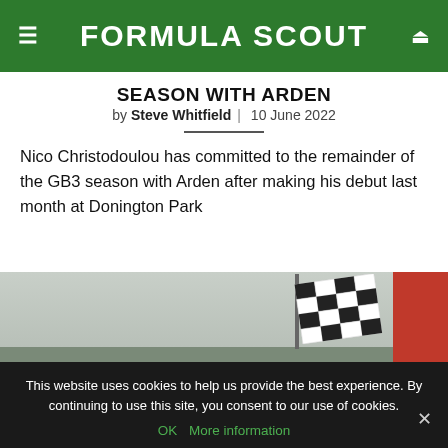FORMULA SCOUT
SEASON WITH ARDEN
by Steve Whitfield | 10 June 2022
Nico Christodoulou has committed to the remainder of the GB3 season with Arden after making his debut last month at Donington Park
[Figure (photo): Racing scene with a chequered flag waving, grey sky background, red barriers on right side]
This website uses cookies to help us provide the best experience. By continuing to use this site, you consent to our use of cookies.
OK   More information